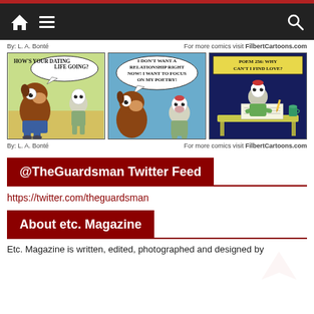Navigation bar with home, menu, and search icons
By: L. A. Bonté    For more comics visit FilbertCartoons.com
[Figure (illustration): Three-panel comic strip by L. A. Bonté from FilbertCartoons.com. Panel 1: Two cartoon animal characters, one asks 'HOW'S YOUR DATING LIFE GOING?' Panel 2: One character replies 'I DON'T WANT A RELATIONSHIP RIGHT NOW! I WANT TO FOCUS ON MY POETRY!' Panel 3: Character sits at desk writing, with note 'POEM 256: WHY CAN'T I FIND LOVE?']
By: L. A. Bonté    For more comics visit FilbertCartoons.com
@TheGuardsman Twitter Feed
https://twitter.com/theguardsman
About etc. Magazine
Etc. Magazine is written, edited, photographed and designed by